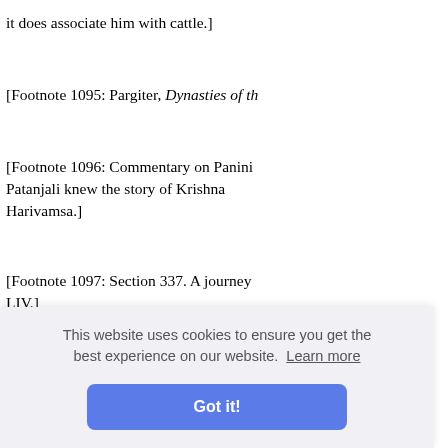[Footnote 1094 (continued): ...it does associate him with cattle.]
[Footnote 1095: Pargiter, Dynasties of th...
[Footnote 1096: Commentary on Panini... Patanjali knew the story of Krishna... Harivamsa.]
[Footnote 1097: Section 337. A journey... LIV.]
[Footnote 1098: The most accessible st... in Vishnu Purana, Book II, chap. IV. Th... nd Mt. M... Pushkar... reality th... an Sun-w... paradise:... om sorro... em and "... fixed institutes." The turn of fancy wh...